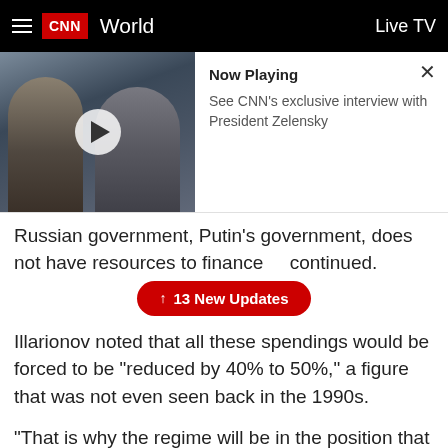CNN World | Live TV
[Figure (screenshot): CNN video thumbnail showing two people (Zelensky and a reporter) with a play button overlay]
Now Playing
See CNN's exclusive interview with President Zelensky
Russian government, Putin's government, does not have resources to finance...he continued.
↑ 13 New Updates
Illarionov noted that all these spendings would be forced to be "reduced by 40% to 50%," a figure that was not even seen back in the 1990s.
"That is why the regime will be in the position that it would need to stop operations, to look for some armistice and to see some negotiations with Ukraine," he continued.
Watch the full interview here: